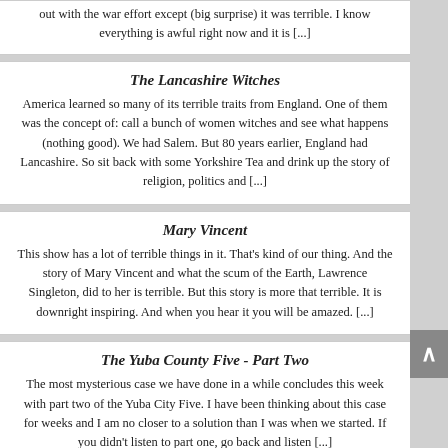out with the war effort except (big surprise) it was terrible. I know everything is awful right now and it is [...]
The Lancashire Witches
America learned so many of its terrible traits from England. One of them was the concept of: call a bunch of women witches and see what happens (nothing good). We had Salem. But 80 years earlier, England had Lancashire.  So sit back with some Yorkshire Tea and drink up the story of religion, politics and [...]
Mary Vincent
This show has a lot of terrible things in it. That's kind of our thing. And the story of Mary Vincent and what the scum of the Earth, Lawrence Singleton, did to her is terrible. But this story is more that terrible.  It is downright inspiring.  And when you hear it you will be amazed. [...]
The Yuba County Five - Part Two
The most mysterious case we have done in a while concludes this week with part two of the Yuba City Five.  I have been thinking about this case for weeks and I am no closer to a solution than I was when we started.  If you didn't listen to part one, go back and listen [...]
The Yuba County Five - Part...